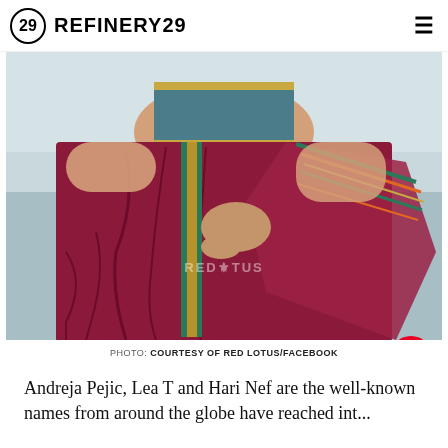REFINERY29
[Figure (photo): A person wearing a deep red/maroon traditional Indian saree with teal and gold embroidered border and colorful striped pallu, photographed outdoors near water. Watermark reads RED LOTUS.]
PHOTO: COURTESY OF RED LOTUS/FACEBOOK
Andreja Pejic, Lea T and Hari Nef are the well-known names from around the globe have reached int...